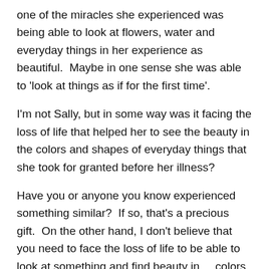one of the miracles she experienced was being able to look at flowers, water and everyday things in her experience as beautiful.  Maybe in one sense she was able to 'look at things as if for the first time'.
I'm not Sally, but in some way was it facing the loss of life that helped her to see the beauty in the colors and shapes of everyday things that she took for granted before her illness?
Have you or anyone you know experienced something similar?  If so, that's a precious gift.  On the other hand, I don't believe that you need to face the loss of life to be able to look at something and find beauty in    colors, shapes, light and shadows of everyday scenes and objects.
Can you look for something this week in your surroundings